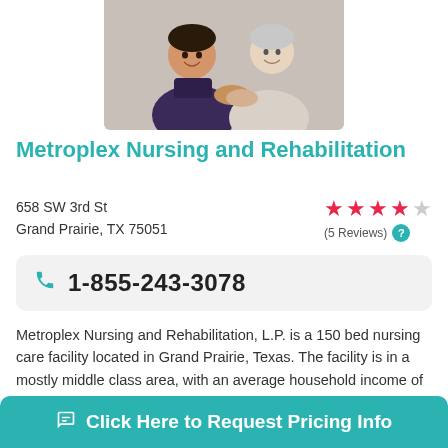[Figure (photo): A smiling female caregiver in dark uniform holding hands with an elderly woman, both appearing happy and engaged.]
Metroplex Nursing and Rehabilitation
658 SW 3rd St
Grand Prairie, TX 75051
[Figure (infographic): 4 out of 5 star rating with pink/red filled stars and one grey star. (5 Reviews) with teal help icon.]
1-855-243-3078
Metroplex Nursing and Rehabilitation, L.P. is a 150 bed nursing care facility located in Grand Prairie, Texas. The facility is in a mostly middle class area, with an average household income of $37,443. It is heavily populated, ...
7 miles away from Arlington, TX
Click Here to Request Pricing Info